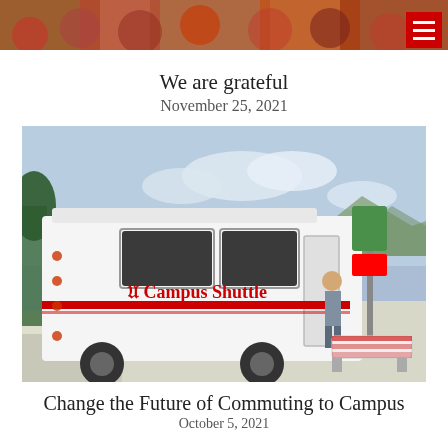[Figure (photo): Top banner photo of people gathered, partially visible at top of page]
We are grateful
November 25, 2021
[Figure (photo): University of Utah Campus Shuttle bus parked at a bus stop with a person standing nearby, trees and mountain in background]
Change the Future of Commuting to Campus
October 5, 2021